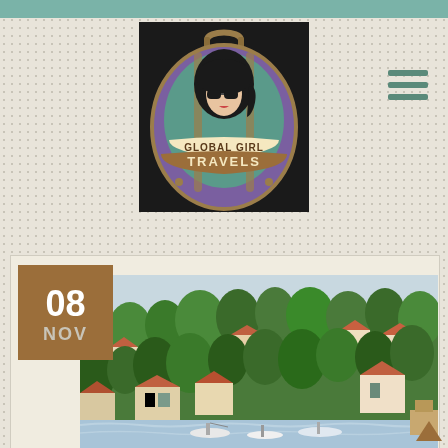[Figure (logo): Global Girl Travels logo — vintage illustrated woman with sunglasses inside an oval luggage-shaped emblem with text 'GLOBAL GIRL TRAVELS']
[Figure (photo): Mediterranean hillside village with terracotta-roofed houses nestled among green trees, boats at waterfront, date badge showing 08 NOV in brown square overlay]